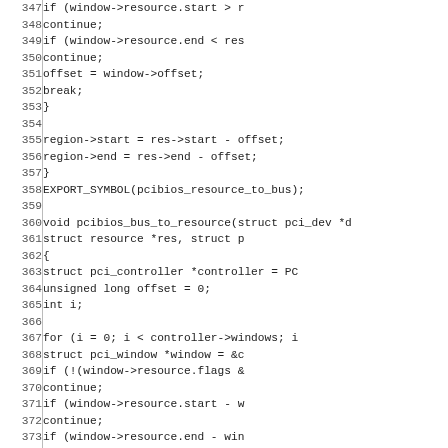[Figure (other): Source code listing showing lines 346-376 of a C file implementing pcibios_resource_to_bus and pcibios_bus_to_resource functions for PCI BIOS resource management.]